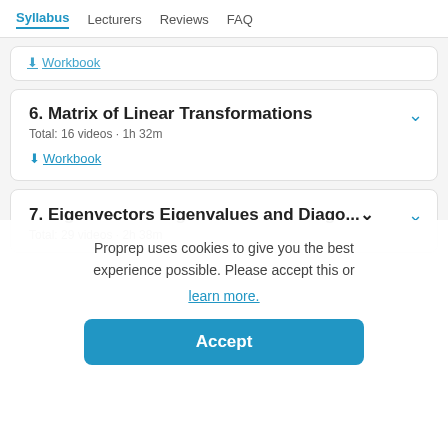Syllabus | Lecturers | Reviews | FAQ
↓ Workbook
6. Matrix of Linear Transformations
Total: 16 videos · 1h 32m
↓ Workbook
7. Eigenvectors Eigenvalues and Diago...
Total: 29 videos · 2h 38m
Proprep uses cookies to give you the best experience possible. Please accept this or learn more.
Accept